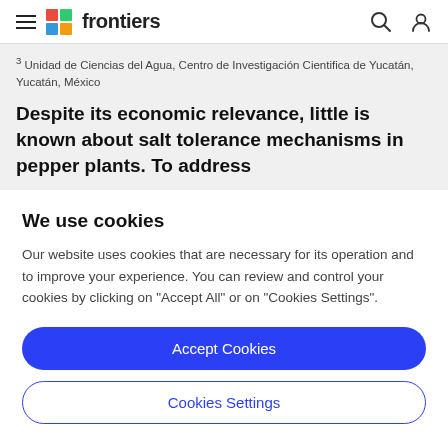frontiers
3 Unidad de Ciencias del Agua, Centro de Investigación Cientifica de Yucatán, Yucatán, México
Despite its economic relevance, little is known about salt tolerance mechanisms in pepper plants. To address
We use cookies
Our website uses cookies that are necessary for its operation and to improve your experience. You can review and control your cookies by clicking on "Accept All" or on "Cookies Settings".
Accept Cookies
Cookies Settings